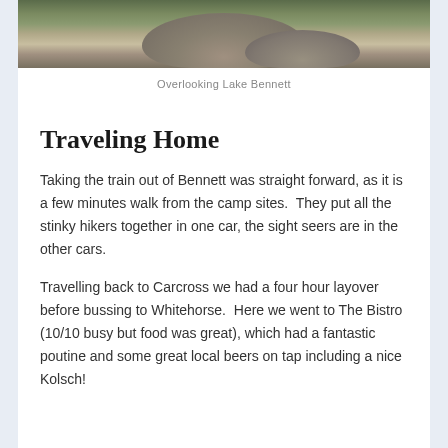[Figure (photo): Photograph showing large rocks and boulders with green vegetation/trees in background, partially cropped at top of page]
Overlooking Lake Bennett
Traveling Home
Taking the train out of Bennett was straight forward, as it is a few minutes walk from the camp sites.  They put all the stinky hikers together in one car, the sight seers are in the other cars.
Travelling back to Carcross we had a four hour layover before bussing to Whitehorse.  Here we went to The Bistro (10/10 busy but food was great), which had a fantastic poutine and some great local beers on tap including a nice Kolsch!